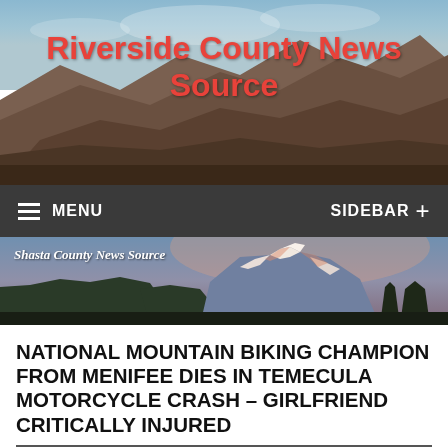[Figure (photo): Mountain landscape header banner with desert/rocky mountains and blue sky background, with red bold text 'Riverside County News Source' overlaid]
Riverside County News Source
[Figure (screenshot): Dark navigation bar with hamburger menu icon and MENU text on left, SIDEBAR + on right]
[Figure (photo): Shasta County News Source banner showing snow-capped mountain (Mount Shasta) at sunset/dusk with pink and blue sky]
NATIONAL MOUNTAIN BIKING CHAMPION FROM MENIFEE DIES IN TEMECULA MOTORCYCLE CRASH – GIRLFRIEND CRITICALLY INJURED
January 13, 2022 | Trevor Montgomery |